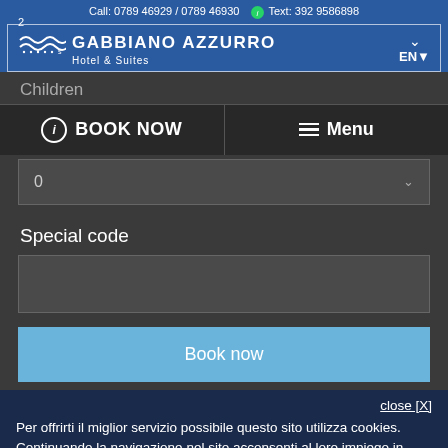Call: 0789 46929 / 0789 46930   Text: 392 9586898
GABBIANO AZZURRO Hotel & Suites
2   EN
Children
i  BOOK NOW
Menu
0
Special code
Book now
close [X]
Per offrirti il miglior servizio possibile questo sito utilizza cookies.
Continuando la navigazione nel sito acconsenti al loro impiego in conformità alla nostra cookie policy